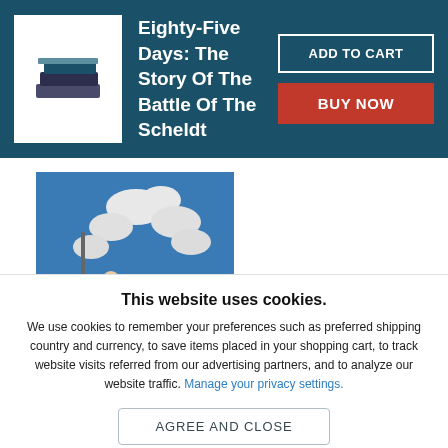Eighty-Five Days: The Story Of The Battle Of The Scheldt
[Figure (illustration): Book cover thumbnail for 'Collecting Dr. Seuss' showing a blue background with cartoon figures and clouds]
Collecting Dr. Seuss
This website uses cookies.
We use cookies to remember your preferences such as preferred shipping country and currency, to save items placed in your shopping cart, to track website visits referred from our advertising partners, and to analyze our website traffic. Manage your privacy settings.
AGREE AND CLOSE